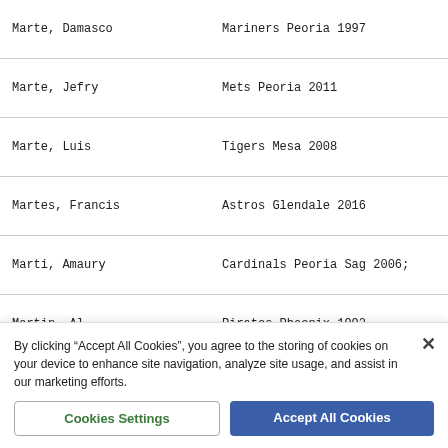Marte, Damasco    Mariners Peoria 1997
Marte, Jefry    Mets Peoria 2011
Marte, Luis    Tigers Mesa 2008
Martes, Francis    Astros Glendale 2016
Marti, Amaury    Cardinals Peoria Sag 2006;
Martin, Al    Pirates Phoenix 1992
Martin, Brett    Rangers Surprise 2016
By clicking "Accept All Cookies", you agree to the storing of cookies on your device to enhance site navigation, analyze site usage, and assist in our marketing efforts.
Cookies Settings
Accept All Cookies